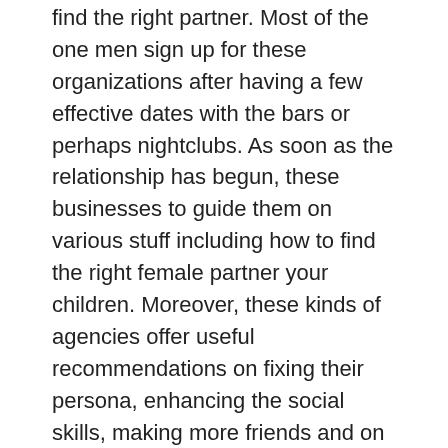find the right partner. Most of the one men sign up for these organizations after having a few effective dates with the bars or perhaps nightclubs. As soon as the relationship has begun, these businesses to guide them on various stuff including how to find the right female partner your children. Moreover, these kinds of agencies offer useful recommendations on fixing their persona, enhancing the social skills, making more friends and on building the confidence levels.
Internet has provided decrease to all; even single guys and one girls who would like to find the best method to meet someone can go on the web. There are hundreds of free online lonely hearts dating sites available on the net today. A number of the popular free online dating sites include Yahoo, eHarmony, and Match ACT. These kinds of free online internet dating sites are perfect locations to meet somebody as they produce a safe